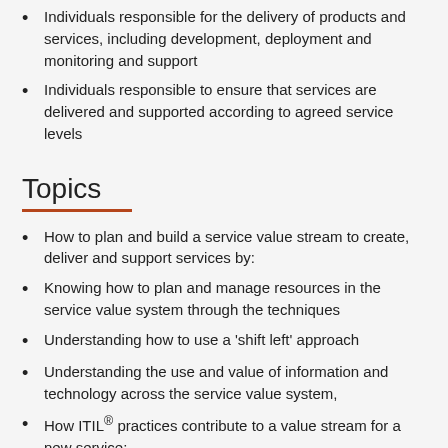Individuals responsible for the delivery of products and services, including development, deployment and monitoring and support
Individuals responsible to ensure that services are delivered and supported according to agreed service levels
Topics
How to plan and build a service value stream to create, deliver and support services by:
Knowing how to plan and manage resources in the service value system through the techniques
Understanding how to use a 'shift left' approach
Understanding the use and value of information and technology across the service value system,
How ITIL® practices contribute to a value stream for a new service: